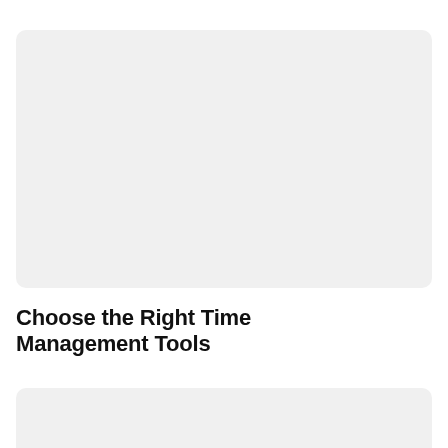[Figure (other): A large light gray rounded rectangle placeholder image block at the top of the page]
Choose the Right Time Management Tools
[Figure (other): A light gray rounded rectangle placeholder image block at the bottom of the page, partially visible]